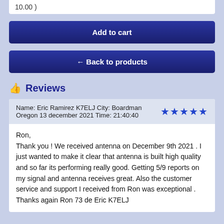10.00 )
Add to cart
← Back to products
👍 Reviews
Name: Eric Ramirez K7ELJ City: Boardman Oregon 13 december 2021 Time: 21:40:40 ★★★★★
Ron,
Thank you ! We received antenna on December 9th 2021 . I just wanted to make it clear that antenna is built high quality and so far its performing really good. Getting 5/9 reports on my signal and antenna receives great. Also the customer service and support I received from Ron was exceptional . Thanks again Ron 73 de Eric K7ELJ